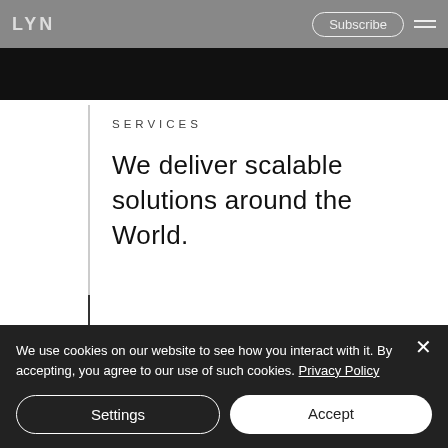LYN  Subscribe ☰
[Figure (screenshot): Black navigation/image strip at the top of a website]
SERVICES
We deliver scalable solutions around the World.
We use cookies on our website to see how you interact with it. By accepting, you agree to our use of such cookies. Privacy Policy
Settings
Accept